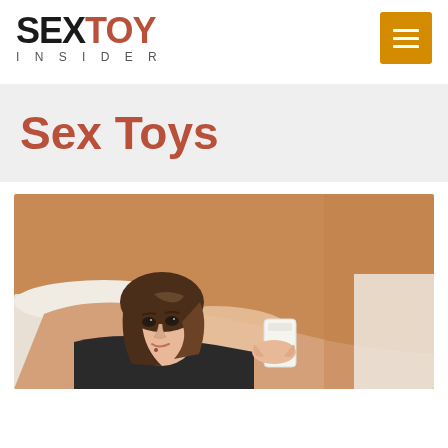SEXTOY INSIDER
Sex Toys
[Figure (photo): Woman lying on a bed with a tan/warm brown background, looking toward the camera, holding a white object, wearing a black top]